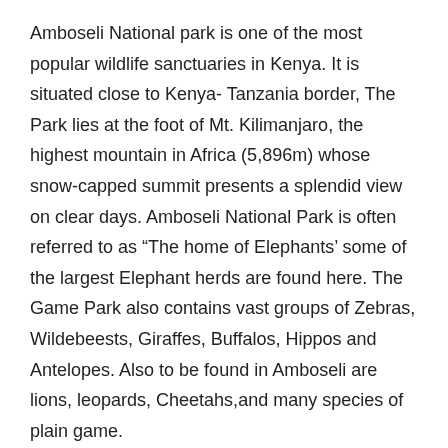Amboseli National park is one of the most popular wildlife sanctuaries in Kenya. It is situated close to Kenya- Tanzania border, The Park lies at the foot of Mt. Kilimanjaro, the highest mountain in Africa (5,896m) whose snow-capped summit presents a splendid view on clear days. Amboseli National Park is often referred to as “The home of Elephants’ some of the largest Elephant herds are found here. The Game Park also contains vast groups of Zebras, Wildebeests, Giraffes, Buffalos, Hippos and Antelopes. Also to be found in Amboseli are lions, leopards, Cheetahs,and many species of plain game.
Dinner and overnight stay at Kibo safari camp.
Meal Plan: Breakfast, Lunch, Dinner
Day 7: Amboseli – Lake Manyara National Park
After an Early breakfast, proceed for morning game drives as